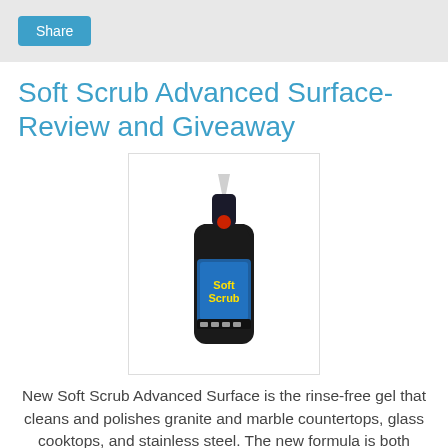Share
Soft Scrub Advanced Surface- Review and Giveaway
[Figure (photo): Product photo of Soft Scrub Advanced Surface bottle — dark bottle with blue label and pointed cap, on white background with light border]
New Soft Scrub Advanced Surface is the rinse-free gel that cleans and polishes granite and marble countertops, glass cooktops, and stainless steel.  The new formula is both tough on stains and gentle on delicate surfaces.  To use, just apply to the surface and wipe away with a sponge, cloth or paper towel.
I don't have stainless steel in my home so I can't vouch for how well this all purpose cleaner works in that area.  I have